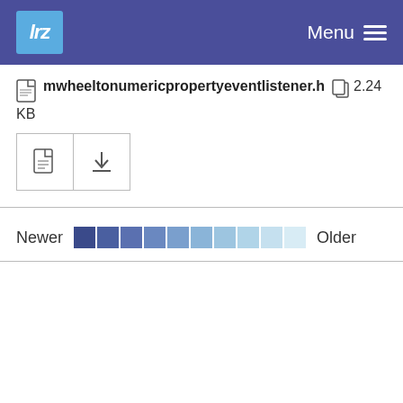lrz  Menu
mwheeltonumericpropertyeventlistener.h  2.24 KB
[Figure (screenshot): Two icon buttons: a file preview icon and a download icon]
Newer  Older